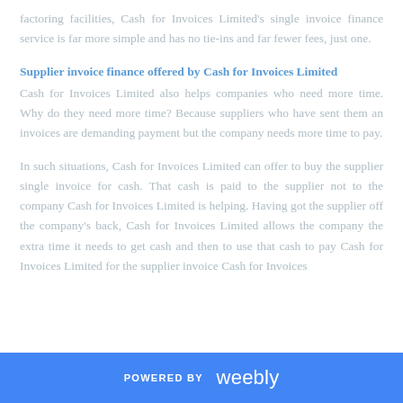factoring facilities, Cash for Invoices Limited's single invoice finance service is far more simple and has no tie-ins and far fewer fees, just one.
Supplier invoice finance offered by Cash for Invoices Limited
Cash for Invoices Limited also helps companies who need more time.  Why do they need more time? Because suppliers who have sent them an invoices are demanding payment but the company needs more time to pay.
In such situations, Cash for Invoices Limited can offer to buy the supplier single invoice for cash.  That cash is paid to the supplier not to the company Cash for Invoices Limited is helping.  Having got the supplier off the company's back, Cash for Invoices Limited allows the company the extra time it needs to get cash and then to use that cash to pay Cash for Invoices Limited for the supplier invoice Cash for Invoices
POWERED BY weebly